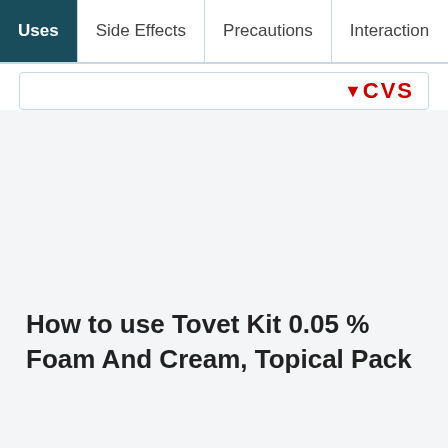Uses | Side Effects | Precautions | Interactions
[Figure (logo): CVS pharmacy logo with red downward arrow and CVS text in red on a white panel with border]
How to use Tovet Kit 0.05 % Foam And Cream, Topical Pack